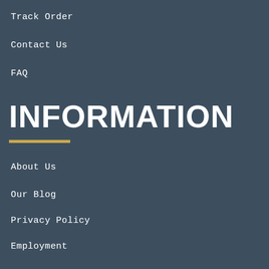Track Order
Contact Us
FAQ
INFORMATION
About Us
Our Blog
Privacy Policy
Employment